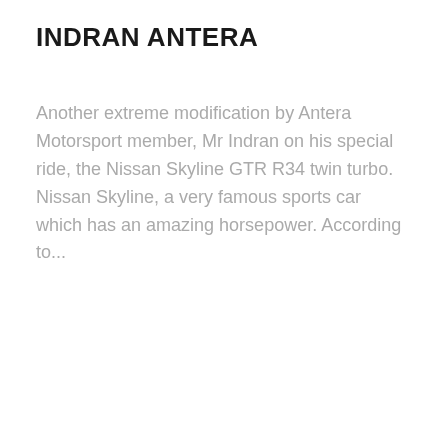INDRAN ANTERA
Another extreme modification by Antera Motorsport member, Mr Indran on his special ride, the Nissan Skyline GTR R34 twin turbo. Nissan Skyline, a very famous sports car which has an amazing horsepower. According to...